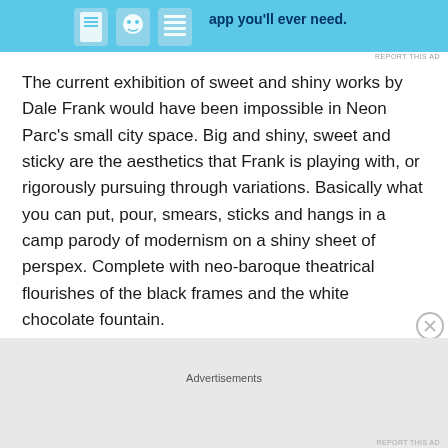[Figure (screenshot): Blue advertisement banner with app icons and text 'app you'll ever need.']
The current exhibition of sweet and shiny works by Dale Frank would have been impossible in Neon Parc's small city space. Big and shiny, sweet and sticky are the aesthetics that Frank is playing with, or rigorously pursuing through variations. Basically what you can put, pour, smears, sticks and hangs in a camp parody of modernism on a shiny sheet of perspex. Complete with neo-baroque theatrical flourishes of the black frames and the white chocolate fountain.
Geoff Newton, the director of Neon Parc has lived in Brunswick for decades. Newton said that he was a bit
Advertisements